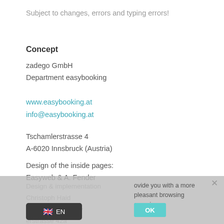Subject to changes, errors and typing errors!
Concept
zadego GmbH
Department easybooking
www.easybooking.at
info@easybooking.at
Tschamlerstrasse 4
A-6020 Innsbruck (Austria)
Design of the inside pages:
Easyweb & A. Fender
Design & implementation
Christoph Haid
Advertising agency
erstrasse 42a